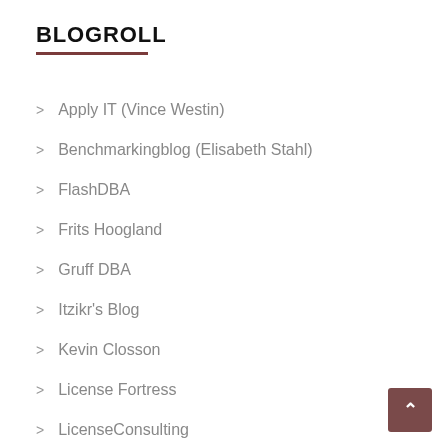BLOGROLL
Apply IT (Vince Westin)
Benchmarkingblog (Elisabeth Stahl)
FlashDBA
Frits Hoogland
Gruff DBA
Itzikr's Blog
Kevin Closson
License Fortress
LicenseConsulting
Madora Consulting
Virtual Geek (Chad Sakac)